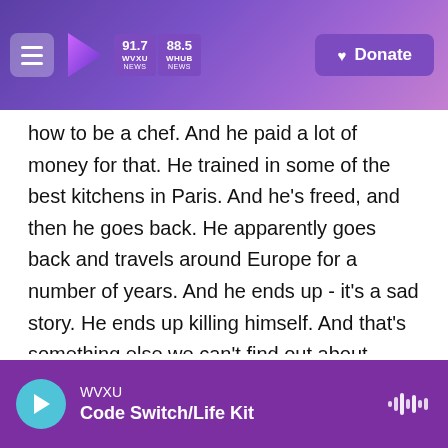91.7 WVXU NEWS | 88.5 WHUB NEWS | Donate
how to be a chef. And he paid a lot of money for that. He trained in some of the best kitchens in Paris. And he's freed, and then he goes back. He apparently goes back and travels around Europe for a number of years. And he ends up - it's a sad story. He ends up killing himself. And that's something else we can't find out about. Jefferson hired a detective to find out what had happened, but what the guy said - the letter explaining what the guy said is no longer extant, so we'll probably never figure that one out either.
GROSS: Let's take a short break here, and then
WVXU | Code Switch/Life Kit